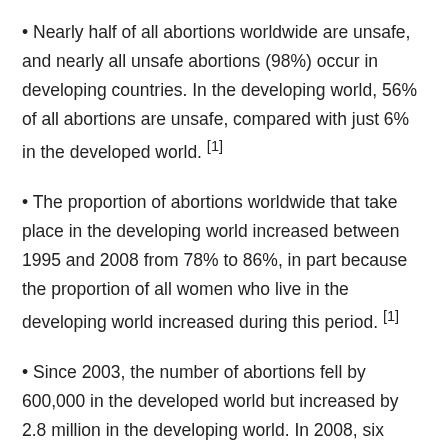Nearly half of all abortions worldwide are unsafe, and nearly all unsafe abortions (98%) occur in developing countries. In the developing world, 56% of all abortions are unsafe, compared with just 6% in the developed world. [1]
The proportion of abortions worldwide that take place in the developing world increased between 1995 and 2008 from 78% to 86%, in part because the proportion of all women who live in the developing world increased during this period. [1]
Since 2003, the number of abortions fell by 600,000 in the developed world but increased by 2.8 million in the developing world. In 2008, six million abortions were performed in developed countries and 38 million in developing countries, a disparity that largely reflects population distribution. [1]
A woman's likelihood of having an abortion is slightly elevated if she lives in a developing region. In 2008, there were 29 abortions